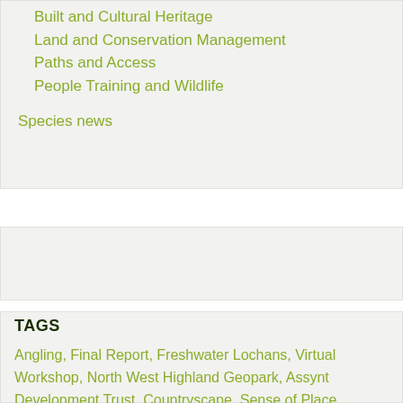Built and Cultural Heritage
Land and Conservation Management
Paths and Access
People Training and Wildlife
Species news
TAGS
Angling, Final Report, Freshwater Lochans, Virtual Workshop, North West Highland Geopark, Assynt Development Trust, Countryscape, Sense of Place, Fishing Lodmore and Knockan, Community Association